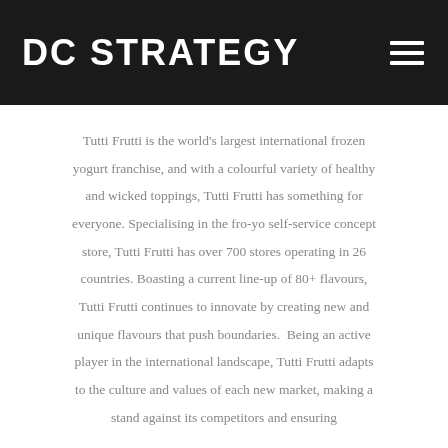DC STRATEGY
Tutti Frutti is the world's largest international frozen yogurt franchise, and with a colourful variety of healthy and wicked toppings, Tutti Frutti has something for everyone. Specialising in the fro-yo self-service concept store, Tutti Frutti has over 700 stores operating in 26 countries. Boasting a current line-up of 80+ flavours, Tutti Frutti continues to innovate by creating new and unique flavours that push boundaries.  Being an active player in the international landscape, Tutti Frutti adapts to the culture and values of each new market, making a stand against its competitors and ensuring